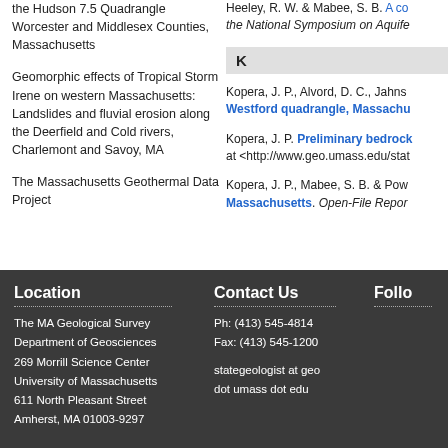the Hudson 7.5 Quadrangle Worcester and Middlesex Counties, Massachusetts
Geomorphic effects of Tropical Storm Irene on western Massachusetts: Landslides and fluvial erosion along the Deerfield and Cold rivers, Charlemont and Savoy, MA
The Massachusetts Geothermal Data Project
Heeley, R. W. & Mabee, S. B. A co... the National Symposium on Aquife...
K
Kopera, J. P., Alvord, D. C., Jahns... Westford quadrangle, Massachu...
Kopera, J. P. Preliminary bedrock... at <http://www.geo.umass.edu/stat...
Kopera, J. P., Mabee, S. B. & Pow... Massachusetts. Open-File Repor...
Location
The MA Geological Survey
Department of Geosciences
269 Morrill Science Center
University of Massachusetts
611 North Pleasant Street
Amherst, MA 01003-9297
Contact Us
Ph: (413) 545-4814
Fax: (413) 545-1200
stategeologist at geo
dot umass dot edu
Follo...